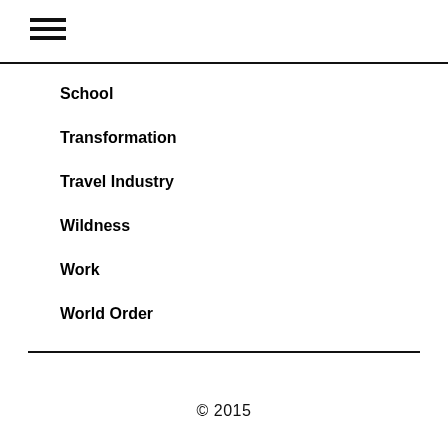[Figure (other): Hamburger menu icon with three horizontal lines]
School
Transformation
Travel Industry
Wildness
Work
World Order
© 2015